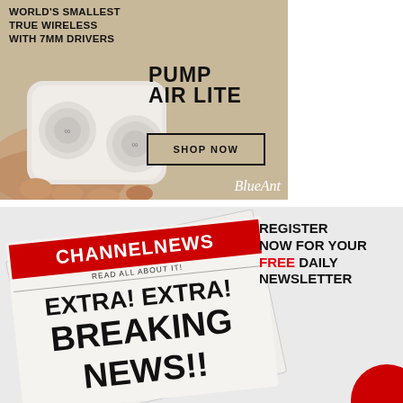[Figure (advertisement): BlueAnt Pump Air Lite true wireless earbuds advertisement on beige/tan background. Text: WORLD'S SMALLEST TRUE WIRELESS WITH 7MM DRIVERS. Product name: PUMP AIR LITE. Call to action: SHOP NOW button. Brand: BlueAnt. Image shows hands holding white earbuds charging case.]
[Figure (advertisement): ChannelNews newsletter registration advertisement. Shows a newspaper with CHANNELNEWS masthead in red, READ ALL ABOUT IT!, and EXTRA! EXTRA! BREAKING NEWS!! headlines. Text: REGISTER NOW FOR YOUR FREE DAILY NEWSLETTER (FREE in red).]